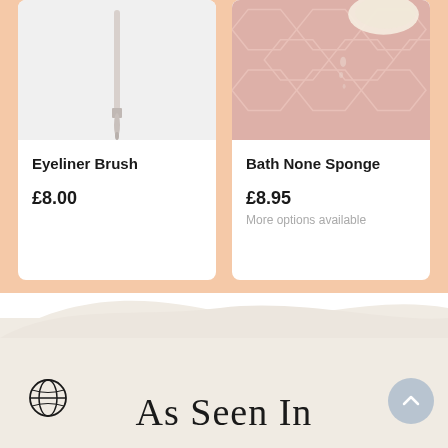[Figure (photo): Eyeliner brush product photo on white background — thin brush handle visible from above]
Eyeliner Brush
£8.00
[Figure (photo): Bath None Sponge product photo — pink hexagonal tile background with sponge and liquid dripping]
Bath None Sponge
£8.95
More options available
[Figure (illustration): Navigation carousel previous/next arrow buttons]
[Figure (illustration): Globe/earth icon on lower left of as seen in section]
As Seen In
[Figure (illustration): Scroll to top chevron button, blue-grey circle, lower right]